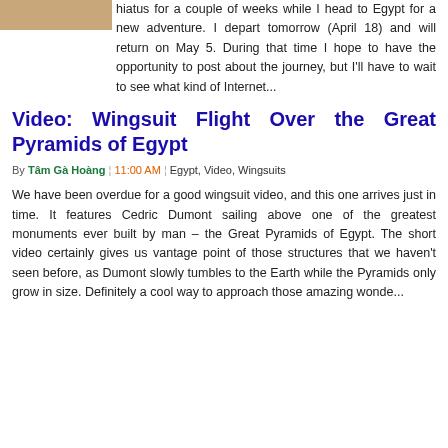[Figure (photo): Partial image of pyramids or Egypt-related photo at top left]
hiatus for a couple of weeks while I head to Egypt for a new adventure. I depart tomorrow (April 18) and will return on May 5. During that time I hope to have the opportunity to post about the journey, but I'll have to wait to see what kind of Internet...
Video: Wingsuit Flight Over the Great Pyramids of Egypt
By Tâm Gà Hoàng  11:00 AM  Egypt, Video, Wingsuits
We have been overdue for a good wingsuit video, and this one arrives just in time. It features Cedric Dumont sailing above one of the greatest monuments ever built by man – the Great Pyramids of Egypt. The short video certainly gives us vantage point of those structures that we haven't seen before, as Dumont slowly tumbles to the Earth while the Pyramids only grow in size. Definitely a cool way to approach those amazing wonde...